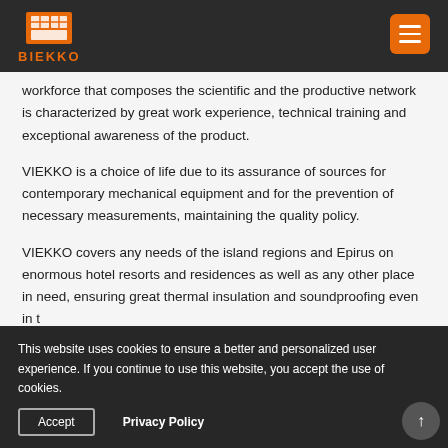BIEKKO
workforce that composes the scientific and the productive network is characterized by great work experience, technical training and exceptional awareness of the product.
VIEKKO is a choice of life due to its assurance of sources for contemporary mechanical equipment and for the prevention of necessary measurements, maintaining the quality policy.
VIEKKO covers any needs of the island regions and Epirus on enormous hotel resorts and residences as well as any other place in need, ensuring great thermal insulation and soundproofing even in t...
This website uses cookies to ensure a better and personalized user experience. If you continue to use this website, you accept the use of cookies.